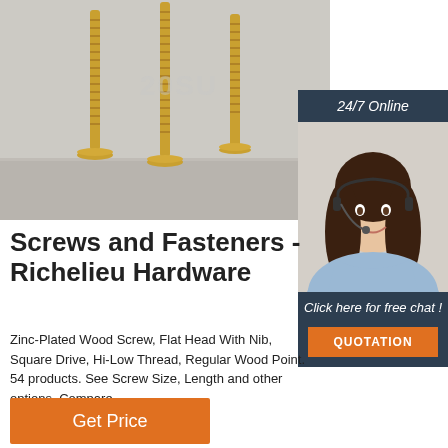[Figure (photo): Three gold/brass zinc-plated wood screws with flat countersunk heads standing upright against a light gray background, with a watermark reading '20SU']
[Figure (photo): Woman with dark hair wearing a headset, smiling, customer service representative, with '24/7 Online' header and 'Click here for free chat!' text and orange QUOTATION button]
Screws and Fasteners - Richelieu Hardware
Zinc-Plated Wood Screw, Flat Head With Nib, Square Drive, Hi-Low Thread, Regular Wood Point. 54 products. See Screw Size, Length and other options. Compare.
Get Price